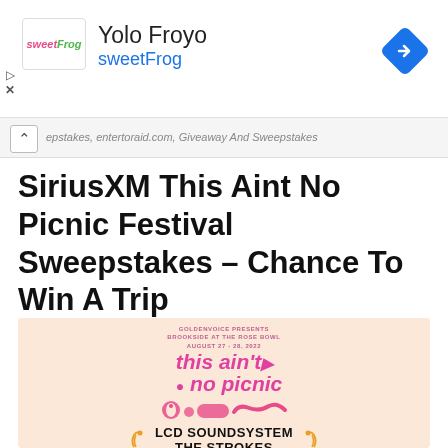[Figure (screenshot): Ad banner for Yolo Froyo sweetFrog with navigation diamond icon]
epstakes, entertoraid.com, Giveaway And Sweepstakes
SiriusXM This Aint No Picnic Festival Sweepstakes – Chance To Win A Trip
[Figure (photo): This Ain't No Picnic festival promotional image showing pink festival logo, abstract pink graphic, LCD SOUNDSYSTEM and THE STROKES text with golden wheat/horn decorations on peach background]